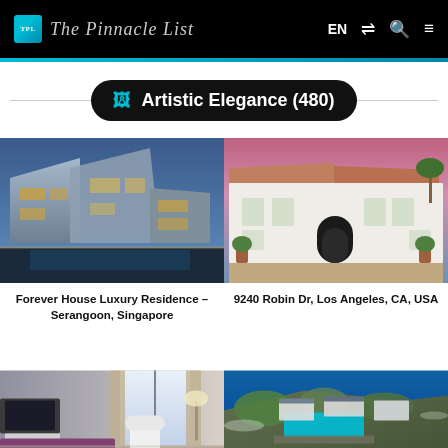The Pinnacle List — EN
Artistic Elegance (480)
[Figure (photo): Modern angular luxury house exterior with illuminated facades and pool, Serangoon, Singapore]
Forever House Luxury Residence – Serangoon, Singapore
[Figure (photo): White Spanish colonial style mansion courtyard lit at dusk, Los Angeles, CA, USA]
9240 Robin Dr, Los Angeles, CA, USA
[Figure (photo): Luxurious modern living room interior with large window, white chair, and sofa]
[Figure (photo): Aerial view of cliffside luxury property with pool overlooking the sea]